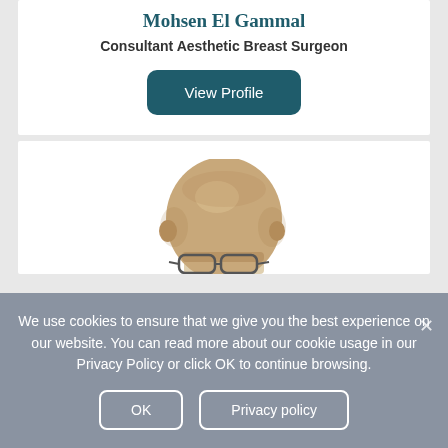Mohsen El Gammal
Consultant Aesthetic Breast Surgeon
View Profile
[Figure (photo): Head and shoulders photo of a bald man wearing glasses, cropped showing top of head down to glasses level]
We use cookies to ensure that we give you the best experience on our website. You can read more about our cookie usage in our Privacy Policy or click OK to continue browsing.
OK
Privacy policy